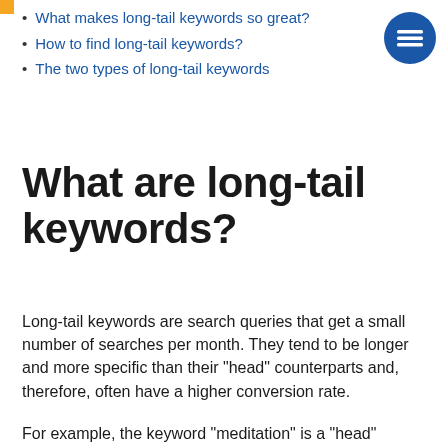What makes long-tail keywords so great?
How to find long-tail keywords?
The two types of long-tail keywords
What are long-tail keywords?
Long-tail keywords are search queries that get a small number of searches per month. They tend to be longer and more specific than their “head” counterparts and, therefore, often have a higher conversion rate.
For example, the keyword “meditation” is a “head”